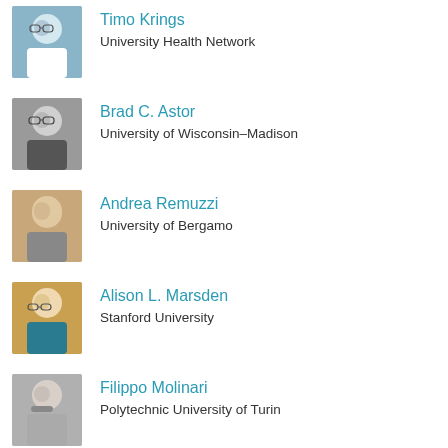Timo Krings
University Health Network
[Figure (photo): Headshot of Timo Krings, man in white coat with glasses]
Brad C. Astor
University of Wisconsin–Madison
[Figure (photo): Headshot of Brad C. Astor, man in suit with glasses]
Andrea Remuzzi
University of Bergamo
[Figure (photo): Headshot of Andrea Remuzzi, older man in suit]
Alison L. Marsden
Stanford University
[Figure (photo): Headshot of Alison L. Marsden, woman with glasses]
Filippo Molinari
Polytechnic University of Turin
[Figure (photo): Headshot of Filippo Molinari, man with beard]
External Links